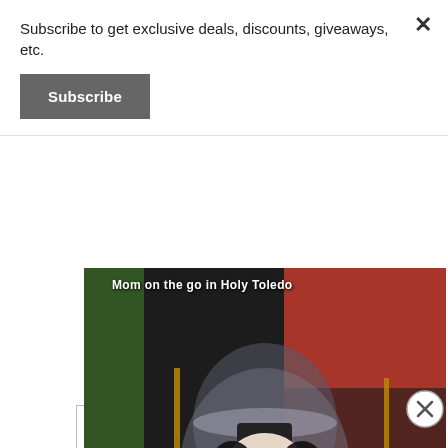Subscribe to get exclusive deals, discounts, giveaways, etc.
Subscribe
[Figure (photo): Close-up photo of two people painting on a wine glass decorated with a Santa Claus figure in red and black, with a blue cup nearby. Text overlay reads 'Mom on the go in Holy Toledo'.]
Advertisements
[Figure (infographic): Bloomingdales advertisement: 'View Today's Top Deals!' with a woman in a large blue hat, and a 'SHOP NOW >' button.]